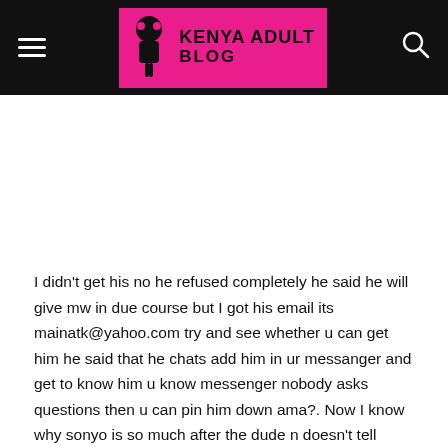KENYA ADULT BLOG
I didn't get his no he refused completely he said he will give mw in due course but I got his email its mainatk@yahoo.com try and see whether u can get him he said that he chats add him in ur messanger and get to know him u know messenger nobody asks questions then u can pin him down ama?. Now I know why sonyo is so much after the dude n doesn't tell sonyo I fucked his idol.